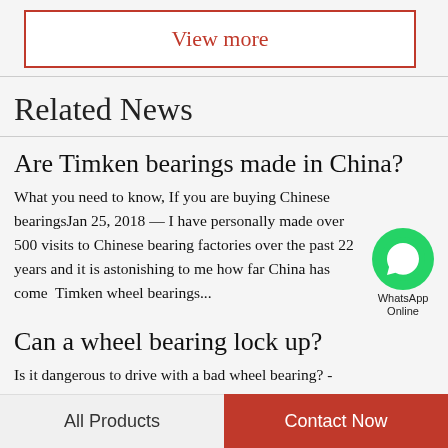View more
Related News
Are Timken bearings made in China?
What you need to know, If you are buying Chinese bearingsJan 25, 2018 — I have personally made over 500 visits to Chinese bearing factories over the past 22 years and it is astonishing to me how far China has come  Timken wheel bearings...
Can a wheel bearing lock up?
Is it dangerous to drive with a bad wheel bearing? - Once It...
All Products
Contact Now